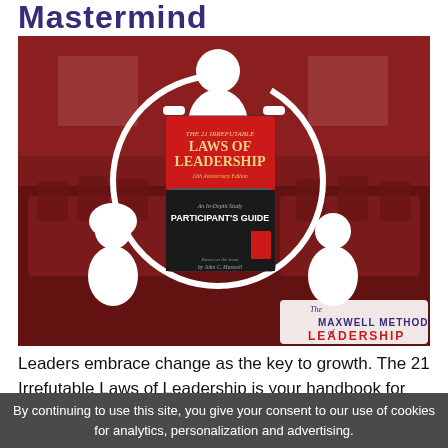Mastermind
[Figure (illustration): A conference room background (red-tinted) with white silhouette figures of three people connected by a circular arrow diagram, holding a book cover in the center: 'The 21 Irrefutable Laws of Leadership - 10th Anniversary Edition - An In-Depth Study Participant's Guide by John C. Maxwell'. Bottom right shows 'The Maxwell Method of Leadership' logo.]
Leaders embrace change as the key to growth. The 21 Irrefutable Laws of Leadership is your handbook for growing and developing yourself and others. Through this study, you will learn to apply practical leadership lessons based on John
By continuing to use this site, you give your consent to our use of cookies for analytics, personalization and advertising.